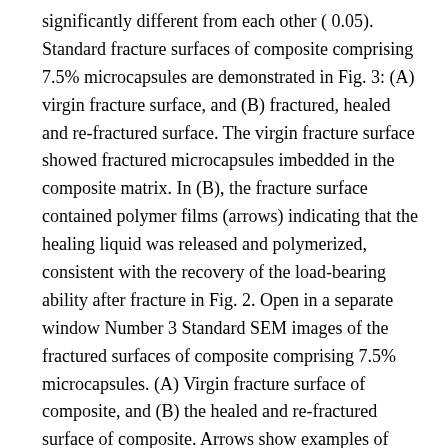significantly different from each other ( 0.05). Standard fracture surfaces of composite comprising 7.5% microcapsules are demonstrated in Fig. 3: (A) virgin fracture surface, and (B) fractured, healed and re-fractured surface. The virgin fracture surface showed fractured microcapsules imbedded in the composite matrix. In (B), the fracture surface contained polymer films (arrows) indicating that the healing liquid was released and polymerized, consistent with the recovery of the load-bearing ability after fracture in Fig. 2. Open in a separate window Number 3 Standard SEM images of the fractured surfaces of composite comprising 7.5% microcapsules. (A) Virgin fracture surface of composite, and (B) the healed and re-fractured surface of composite. Arrows show examples of polymer films of the released and polymerized healing liquid. The self-healing composite also possessed antibacterial function, as demonstrated in Fig. 4. Representative live/deceased